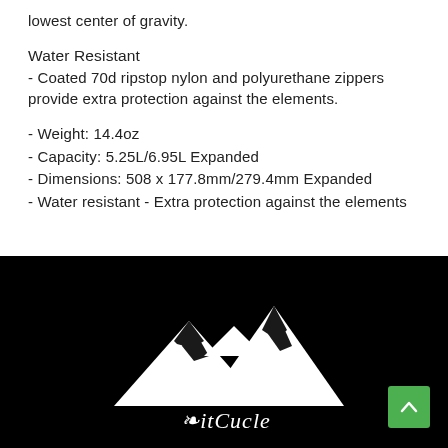lowest center of gravity.
Water Resistant
- Coated 70d ripstop nylon and polyurethane zippers provide extra protection against the elements.
- Weight: 14.4oz
- Capacity: 5.25L/6.95L Expanded
- Dimensions: 508 x 177.8mm/279.4mm Expanded
- Water resistant - Extra protection against the elements
[Figure (logo): Summit Cycle brand logo — white mountain silhouette on black background with cursive brand name text below]